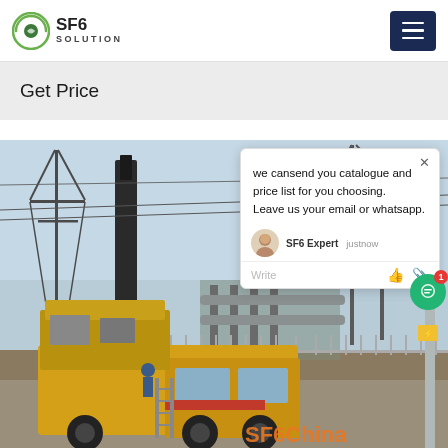SF6 SOLUTION
Get Price
[Figure (photo): Yellow SF6 service truck parked at an electrical substation with high-voltage transmission towers and equipment in the background. Overlaid with a chat popup dialog.]
we cansend you catalogue and price list for you choosing.
Leave us your email or whatsapp.
SF6 Expert   justnow
Write